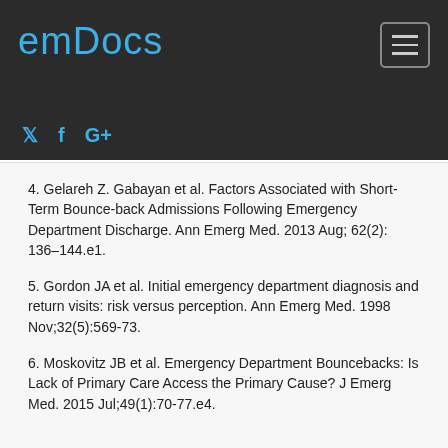emDocs
4. Gelareh Z. Gabayan et al. Factors Associated with Short-Term Bounce-back Admissions Following Emergency Department Discharge. Ann Emerg Med. 2013 Aug; 62(2): 136–144.e1.
5. Gordon JA et al. Initial emergency department diagnosis and return visits: risk versus perception. Ann Emerg Med. 1998 Nov;32(5):569-73.
6. Moskovitz JB et al. Emergency Department Bouncebacks: Is Lack of Primary Care Access the Primary Cause? J Emerg Med. 2015 Jul;49(1):70-77.e4.